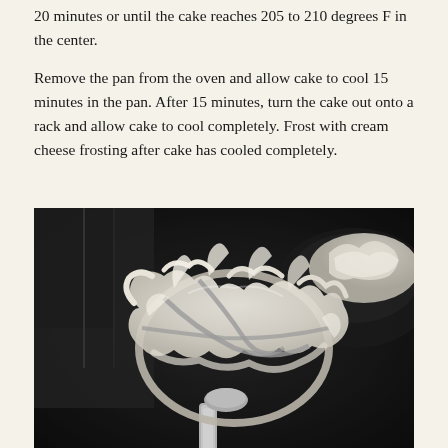20 minutes or until the cake reaches 205 to 210 degrees F in the center.
Remove the pan from the oven and allow cake to cool 15 minutes in the pan. After 15 minutes, turn the cake out onto a rack and allow cake to cool completely. Frost with cream cheese frosting after cake has cooled completely.
[Figure (photo): Close-up black and white photo of a stand mixer beater attachment covered in cream cheese frosting, with a bowl of frosting visible in the background.]